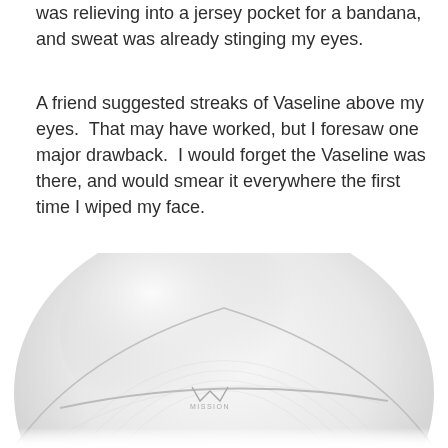was relieving into a jersey pocket for a bandana, and sweat was already stinging my eyes.
A friend suggested streaks of Vaseline above my eyes.  That may have worked, but I foresaw one major drawback.  I would forget the Vaseline was there, and would smear it everywhere the first time I wiped my face.
So I relied on my bandanas.  In other words, I put up with stinging eyes.
One day a riding buddy turned up wearing a helmet liner.
[Figure (photo): A white helmet liner (skull cap) with a Mission brand logo visible, photographed from above at an angle showing its rounded dome shape and textured fabric surface.]